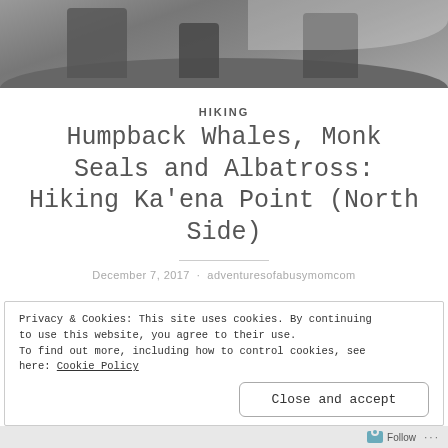[Figure (photo): Grayscale photo showing a beach or coastal scene with waves, partially visible at top of page]
HIKING
Humpback Whales, Monk Seals and Albatross: Hiking Ka'ena Point (North Side)
December 7, 2017 · adventuresofabusymomcom
Privacy & Cookies: This site uses cookies. By continuing to use this website, you agree to their use.
To find out more, including how to control cookies, see here: Cookie Policy
Close and accept
Follow